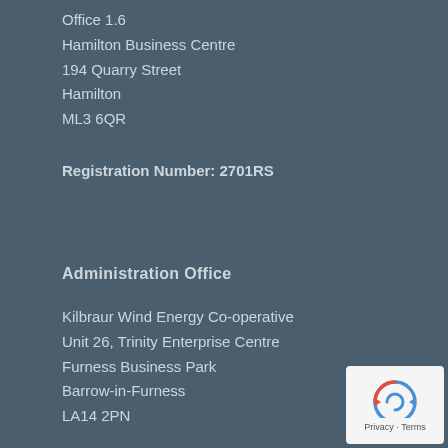Office 1.6
Hamilton Business Centre
194 Quarry Street
Hamilton
ML3 6QR
Registration Number: 2701RS
Administration Office
Kilbraur Wind Energy Co-operative
Unit 26, Trinity Enterprise Centre
Furness Business Park
Barrow-in-Furness
LA14 2PN
[Figure (logo): reCAPTCHA Privacy - Terms badge in bottom right corner]